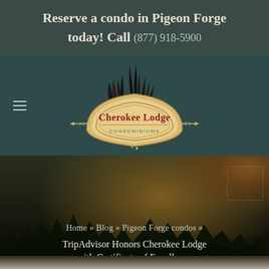Reserve a condo in Pigeon Forge today! Call (877) 918-5900
[Figure (logo): Cherokee Lodge Condominiums logo — a fan-shaped Native American style emblem with feather headdress and crossing arrows, text reading 'Cherokee Lodge' in decorative font and 'CONDOMINIUMS' below]
Home » Blog » Pigeon Forge condos » TripAdvisor Honors Cherokee Lodge with Certificate of Excellence
[Figure (illustration): Decorative horizontal arrow divider with chevron feather pattern and arrowheads on each end, red tip on left]